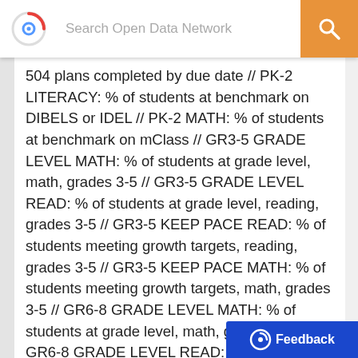Search Open Data Network
504 plans completed by due date // PK-2 LITERACY: % of students at benchmark on DIBELS or IDEL // PK-2 MATH: % of students at benchmark on mClass // GR3-5 GRADE LEVEL MATH: % of students at grade level, math, grades 3-5 // GR3-5 GRADE LEVEL READ: % of students at grade level, reading, grades 3-5 // GR3-5 KEEP PACE READ: % of students meeting growth targets, reading, grades 3-5 // GR3-5 KEEP PACE MATH: % of students meeting growth targets, math, grades 3-5 // GR6-8 GRADE LEVEL MATH: % of students at grade level, math, grades 6-8 // GR6-8 GRADE LEVEL READ: % of students at grade level, reading, grades 6-8 // GR6-8 KEEP PACE MATH: % of students meeting growth targets, math, grades 6-8 // GR6-8 KEEP PACE READ: % of students meeting growth targets, reading, grades 6-8 // GR-8 EXPLORE MATH: % of students at college readiness benchmark, math // GR-8 EXPLORE READ: % of students at college readiness benchmark, reading // ISA